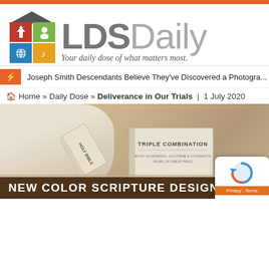[Figure (logo): LDS Daily logo with 2x2 colored grid icon (red with church, green with person, blue with globe, orange with music note), house roof above, bold 'LDS' in gray and 'Daily' in light gray, tagline 'Your daily dose of what matters most.']
Joseph Smith Descendants Believe They've Discovered a Photogra...
Home » Daily Dose » Deliverance in Our Trials  |  1 July 2020
[Figure (photo): Photo of Holy Bible and Triple Combination scriptures lying on a white cloth/fabric on a wooden surface, sepia-warm tones]
NEW COLOR SCRIPTURE DESIGNS - STARTS